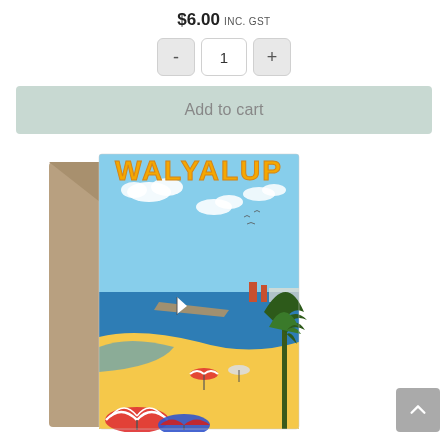$6.00 inc. GST
- 1 +
Add to cart
[Figure (illustration): A retail product page screenshot showing a Walyalup greeting card with a retro travel poster style illustration of a beach scene with yellow sand, blue ocean, colorful beach umbrellas, trees, and a blue sky with clouds. The card is shown with a kraft paper envelope behind it.]